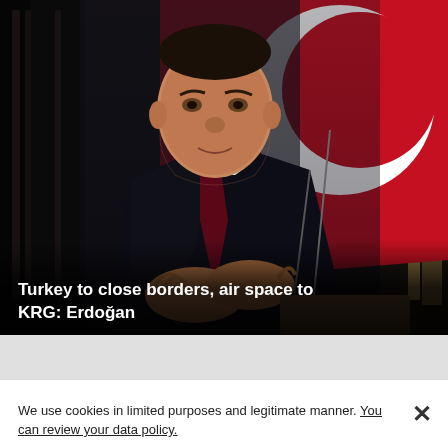[Figure (photo): Photo of a man in a dark suit with a red tie, gesturing with his hands, standing in front of a large red Turkish flag with white crescent. A microphone is visible. Overlaid text caption at the bottom of the image reads: Turkey to close borders, air space to KRG: Erdoğan]
Turkey to close borders, air space to KRG: Erdoğan
We use cookies in limited purposes and legitimate manner. You can review your data policy.